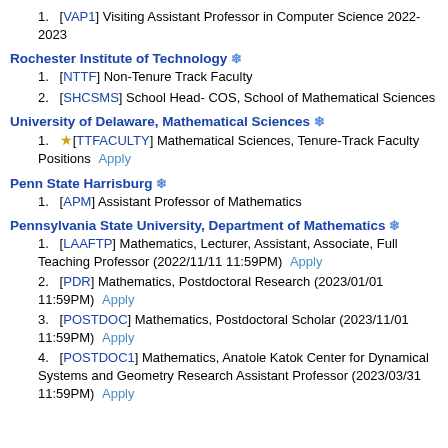1. [VAP1] Visiting Assistant Professor in Computer Science 2022-2023
Rochester Institute of Technology ❄
1. [NTTF] Non-Tenure Track Faculty
2. [SHCSMS] School Head- COS, School of Mathematical Sciences
University of Delaware, Mathematical Sciences ❄
1. ☆[TTFACULTY] Mathematical Sciences, Tenure-Track Faculty Positions   Apply
Penn State Harrisburg ❄
1. [APM] Assistant Professor of Mathematics
Pennsylvania State University, Department of Mathematics ❄
1. [LAAFTP] Mathematics, Lecturer, Assistant, Associate, Full Teaching Professor (2022/11/11 11:59PM)   Apply
2. [PDR] Mathematics, Postdoctoral Research (2023/01/01 11:59PM)   Apply
3. [POSTDOC] Mathematics, Postdoctoral Scholar (2023/11/01 11:59PM)   Apply
4. [POSTDOC1] Mathematics, Anatole Katok Center for Dynamical Systems and Geometry Research Assistant Professor (2023/03/31 11:59PM)   Apply